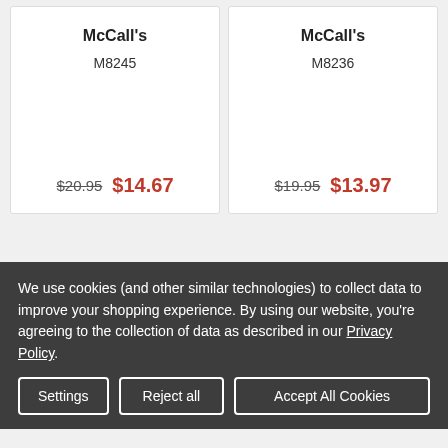McCall's
M8245
$20.95  $14.67
McCall's
M8236
$19.95  $13.97
We use cookies (and other similar technologies) to collect data to improve your shopping experience. By using our website, you're agreeing to the collection of data as described in our Privacy Policy.
Settings
Reject all
Accept All Cookies